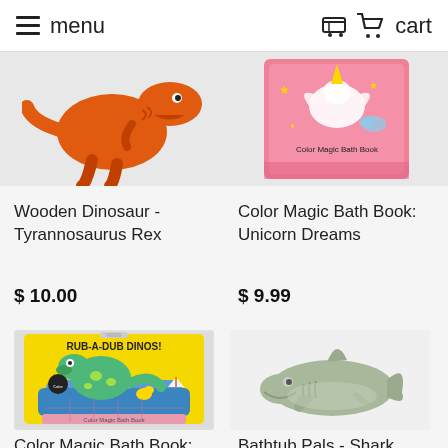menu   cart
[Figure (photo): Orange Wooden Tyrannosaurus Rex dinosaur toy, partially visible, cropped at top]
[Figure (photo): Color Magic Bath Book Unicorn Dreams - pink book cover with unicorn illustration, partially visible, cropped at top]
Wooden Dinosaur - Tyrannosaurus Rex
$ 10.00
Color Magic Bath Book: Unicorn Dreams
$ 9.99
[Figure (photo): Color Magic Bath Book: Rub-a-Dub Dinos - yellow book cover with dinosaur in bathtub illustration]
[Figure (photo): Bathtub Pals shark toy - sage green rubber shark]
Color Magic Bath Book: Rub-a-Dub
Bathtub Pals - Shark